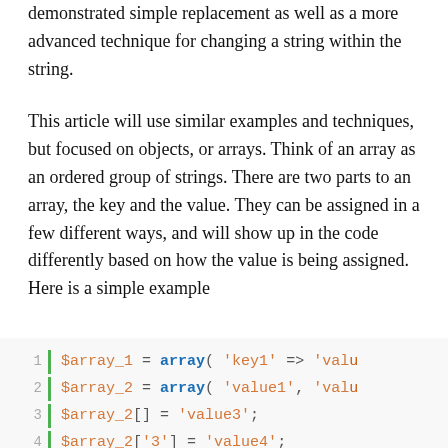demonstrated simple replacement as well as a more advanced technique for changing a string within the string.
This article will use similar examples and techniques, but focused on objects, or arrays. Think of an array as an ordered group of strings. There are two parts to an array, the key and the value. They can be assigned in a few different ways, and will show up in the code differently based on how the value is being assigned. Here is a simple example
[Figure (screenshot): PHP code block with line numbers 1-4 and a green left border. Line 1: $array_1 = array( 'key1' => 'val..., Line 2: $array_2 = array( 'value1', 'val..., Line 3: $array_2[] = 'value3';, Line 4: $array_2['3'] = 'value4';]